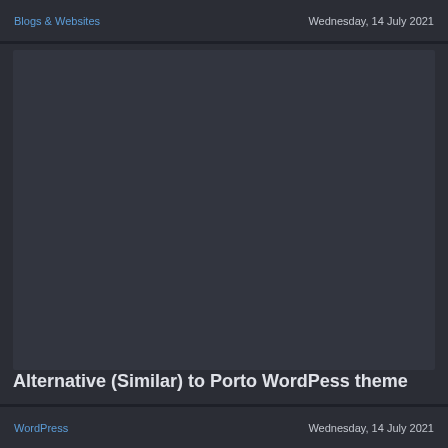Blogs & Websites    Wednesday, 14 July 2021
[Figure (screenshot): Dark grey placeholder image area representing a WordPress theme screenshot]
Alternative (Similar) to Porto WordPess theme
WordPress    Wednesday, 14 July 2021